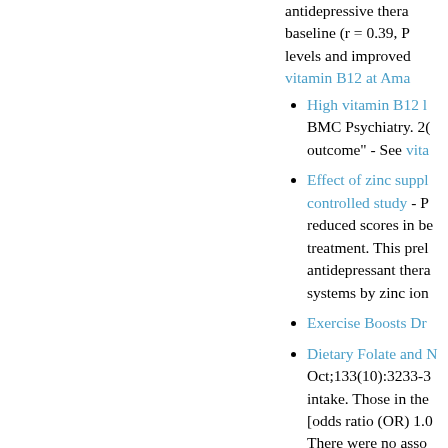antidepressive therapy... baseline (r = 0.39, P...) levels and improved... vitamin B12 at Amazon.com
High vitamin B12 l... BMC Psychiatry. 2... outcome" - See vita...
Effect of zinc suppl... controlled study - P... reduced scores in b... treatment. This prel... antidepressant thera... systems by zinc ion...
Exercise Boosts Dr...
Dietary Folate and M... Oct;133(10):3233-3... intake. Those in the... [odds ratio (OR) 1.0... There were no asso... These results indica... Amazon.com.
St. John's Wort - N... the conventional an... and is better tolerate... with fluoxetine, res...